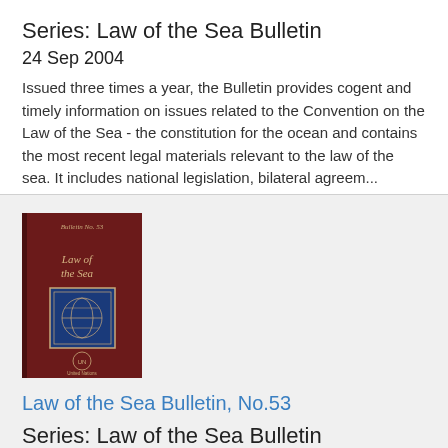Series: Law of the Sea Bulletin
24 Sep 2004
Issued three times a year, the Bulletin provides cogent and timely information on issues related to the Convention on the Law of the Sea - the constitution for the ocean and contains the most recent legal materials relevant to the law of the sea. It includes national legislation, bilateral agreem...
[Figure (illustration): Book cover of Law of the Sea Bulletin showing dark red cover with 'Law of the Sea' text and a blue emblem/seal in the center, with United Nations logo at bottom]
Law of the Sea Bulletin, No.53
Series: Law of the Sea Bulletin
16 Jul 2004